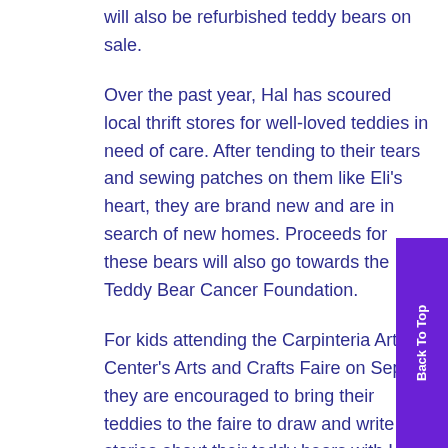will also be refurbished teddy bears on sale.

Over the past year, Hal has scoured local thrift stores for well-loved teddies in need of care. After tending to their tears and sewing patches on them like Eli's heart, they are brand new and are in search of new homes. Proceeds for these bears will also go towards the Teddy Bear Cancer Foundation.

For kids attending the Carpinteria Arts Center's Arts and Crafts Faire on Sep. 7, they are encouraged to bring their teddies to the faire to draw and write stories about their teddy bears with Hal at the Teddy Bear Story